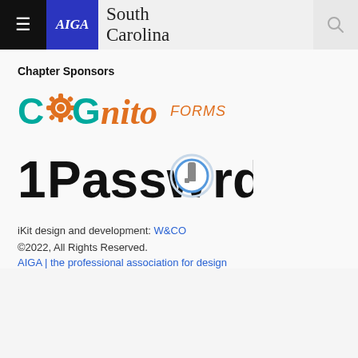AIGA South Carolina
Chapter Sponsors
[Figure (logo): Cognito Forms logo — teal and orange gear icon with stylized text 'COGnito FORMS']
[Figure (logo): 1Password logo — bold black text '1Password' with a blue circular key icon replacing the letter 'o']
iKit design and development: W&CO
©2022, All Rights Reserved.
AIGA | the professional association for design